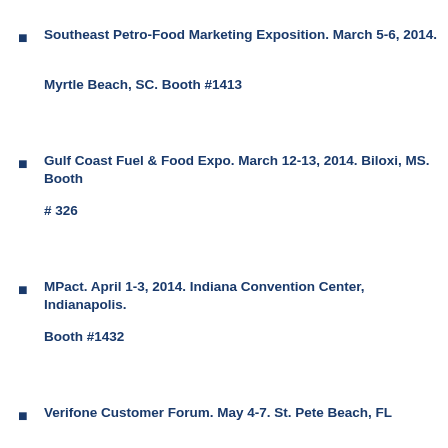Southeast Petro-Food Marketing Exposition.  March 5-6, 2014.  Myrtle Beach, SC.  Booth #1413
Gulf Coast Fuel & Food Expo. March 12-13, 2014. Biloxi, MS.  Booth # 326
MPact.  April 1-3, 2014.  Indiana Convention Center, Indianapolis.  Booth #1432
Verifone Customer Forum. May 4-7.  St. Pete Beach, FL